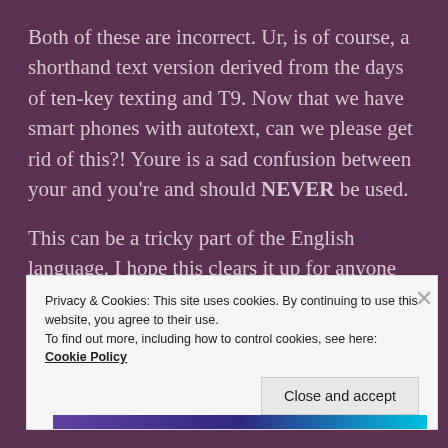Both of these are incorrect. Ur, is of course, a shorthand text version derived from the days of ten-key texting and T9. Now that we have smart phones with autotext, can we please get rid of this?! Youre is a sad confusion between your and you're and should NEVER be used.
This can be a tricky part of the English language. I hope this clears it up for anyone who has always been confused, but could never figure it out.
Privacy & Cookies: This site uses cookies. By continuing to use this website, you agree to their use.
To find out more, including how to control cookies, see here:
Cookie Policy
Close and accept